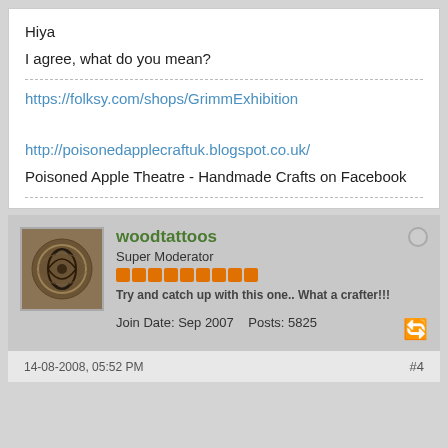Hiya
I agree, what do you mean?
https://folksy.com/shops/GrimmExhibition
http://poisonedapplecraftuk.blogspot.co.uk/
Poisoned Apple Theatre - Handmade Crafts on Facebook
woodtattoos
Super Moderator
Try and catch up with this one.. What a crafter!!!
Join Date: Sep 2007    Posts: 5825
14-08-2008, 05:52 PM
#4